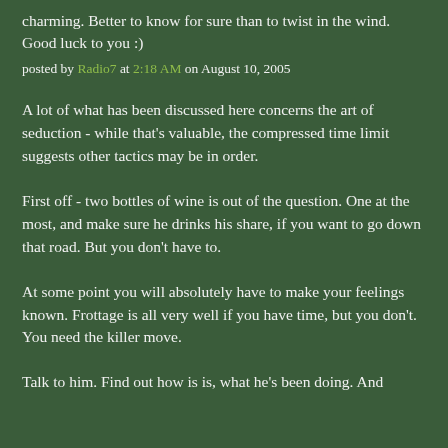charming. Better to know for sure than to twist in the wind. Good luck to you :)
posted by Radio7 at 2:18 AM on August 10, 2005
A lot of what has been discussed here concerns the art of seduction - while that's valuable, the compressed time limit suggests other tactics may be in order.
First off - two bottles of wine is out of the question. One at the most, and make sure he drinks his share, if you want to go down that road. But you don't have to.
At some point you will absolutely have to make your feelings known. Frottage is all very well if you have time, but you don't. You need the killer move.
Talk to him. Find out how is is, what he's been doing. And